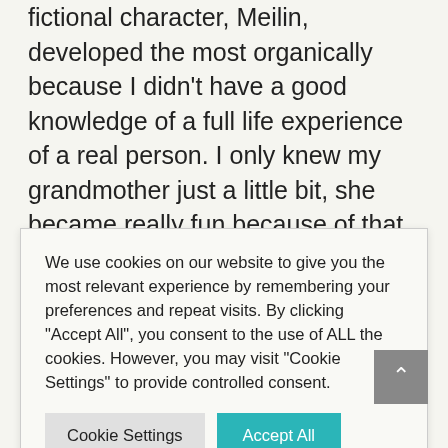fictional character, Meilin, developed the most organically because I didn't have a good knowledge of a full life experience of a real person. I only knew my grandmother just a little bit, she became really fun because of that. All of those earlier characters, Longwei as well, were so fictional. I would have to imagine conversations they would have and there was a lot of developing their storyline when I was out
We use cookies on our website to give you the most relevant experience by remembering your preferences and repeat visits. By clicking "Accept All", you consent to the use of ALL the cookies. However, you may visit "Cookie Settings" to provide controlled consent.
Cookie Settings   Accept All
hree, Henry ngs happening, beginning. I r. I do those er but not in evelopment. ally evolved hers. I could eed to give it son.' The characters who had connections with real people